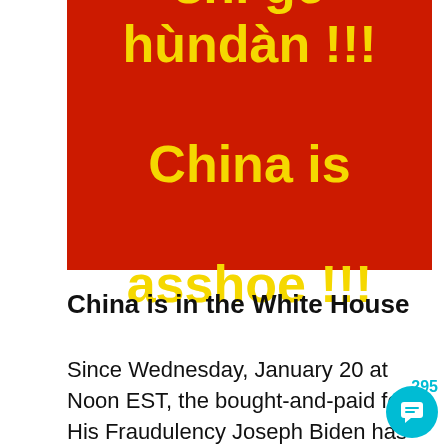[Figure (illustration): Red background banner with yellow bold text reading 'shī ge hùndàn !!! China is asshoe !!!']
China is in the White House
Since Wednesday, January 20 at Noon EST, the bought-and-paid for His Fraudulency Joseph Biden has been i...